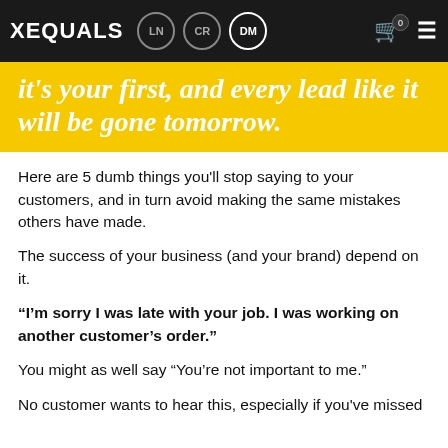XEQUALS | LN | CR | DM
it's your first, and every lead like it will be gone tomorrow.
Here are 5 dumb things you'll stop saying to your customers, and in turn avoid making the same mistakes others have made.
The success of your business (and your brand) depend on it.
“I’m sorry I was late with your job. I was working on another customer’s order.”
You might as well say “You’re not important to me.”
No customer wants to hear this, especially if you've missed